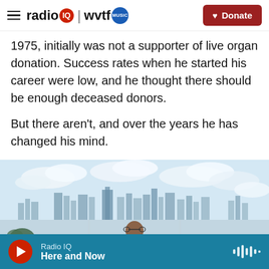radio IQ | wvtf MUSIC — Donate
1975, initially was not a supporter of live organ donation. Success rates when he started his career were low, and he thought there should be enough deceased donors.
But there aren't, and over the years he has changed his mind.
[Figure (photo): A doctor in a white coat sitting on a couch in a modern hospital room with large windows showing a city skyline in the background.]
Radio IQ — Here and Now